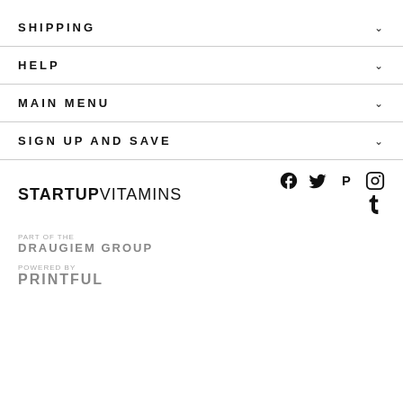SHIPPING
HELP
MAIN MENU
SIGN UP AND SAVE
STARTUPVITAMINS
PART OF THE
DRAUGIEM GROUP
POWERED BY
PRINTFUL